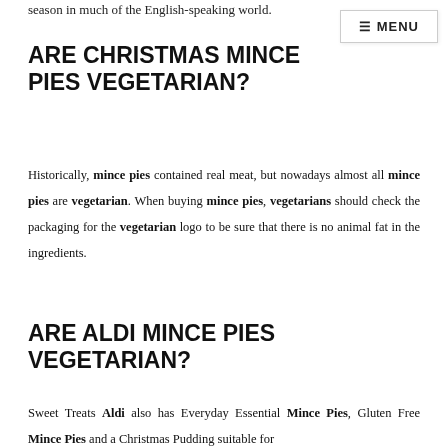season in much of the English-speaking world.
≡ MENU
ARE CHRISTMAS MINCE PIES VEGETARIAN?
Historically, mince pies contained real meat, but nowadays almost all mince pies are vegetarian. When buying mince pies, vegetarians should check the packaging for the vegetarian logo to be sure that there is no animal fat in the ingredients.
ARE ALDI MINCE PIES VEGETARIAN?
Sweet Treats Aldi also has Everyday Essential Mince Pies, Gluten Free Mince Pies and a Christmas Pudding suitable for